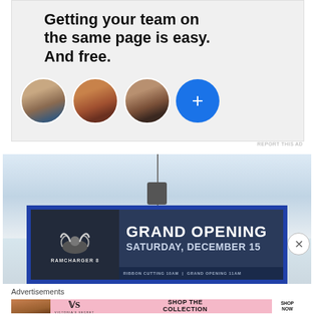[Figure (infographic): Advertisement banner showing text 'Getting your team on the same page is easy. And free.' with three circular profile photo avatars and a blue plus button]
REPORT THIS AD
[Figure (photo): Advertisement showing a ski mountain background with a Grand Opening sign reading 'GRAND OPENING SATURDAY, DECEMBER 15 RAMCHARGER 8 RIBBON CUTTING 10AM GRAND OPENING 11AM']
Advertisements
[Figure (infographic): Victoria's Secret advertisement banner with woman's photo, VS logo, text 'SHOP THE COLLECTION' and 'SHOP NOW' button]